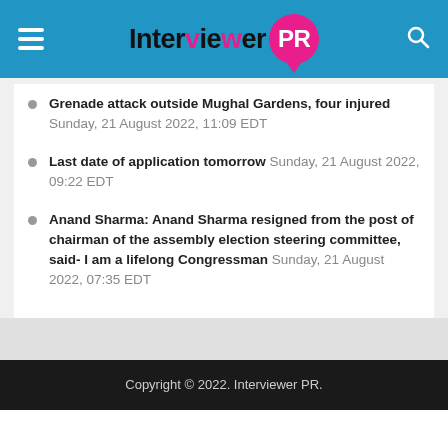Interviewer PR
Grenade attack outside Mughal Gardens, four injured Sunday, 21 August 2022, 11:09 EDT
Last date of application tomorrow Sunday, 21 August 2022, 09:22 EDT
Anand Sharma: Anand Sharma resigned from the post of chairman of the assembly election steering committee, said- I am a lifelong Congressman Sunday, 21 August 2022, 07:35 EDT
Copyright © 2022. Interviewer PR.